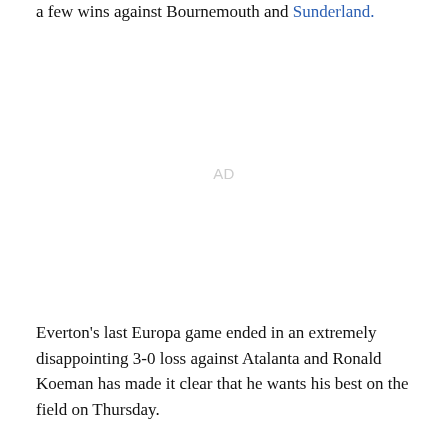a few wins against Bournemouth and Sunderland.
[Figure (other): Advertisement placeholder region with 'AD' label in light gray]
Everton's last Europa game ended in an extremely disappointing 3-0 loss against Atalanta and Ronald Koeman has made it clear that he wants his best on the field on Thursday.
The new moon in Virgo will cause the team to reflect